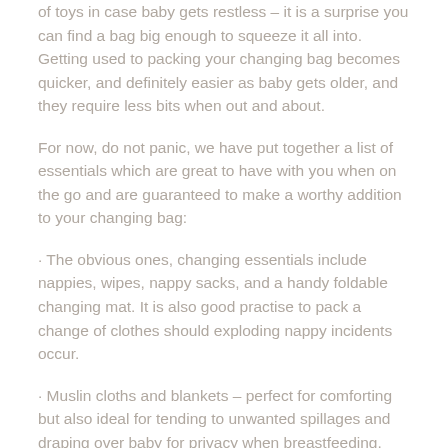of toys in case baby gets restless – it is a surprise you can find a bag big enough to squeeze it all into. Getting used to packing your changing bag becomes quicker, and definitely easier as baby gets older, and they require less bits when out and about.
For now, do not panic, we have put together a list of essentials which are great to have with you when on the go and are guaranteed to make a worthy addition to your changing bag:
· The obvious ones, changing essentials include nappies, wipes, nappy sacks, and a handy foldable changing mat. It is also good practise to pack a change of clothes should exploding nappy incidents occur.
· Muslin cloths and blankets – perfect for comforting but also ideal for tending to unwanted spillages and draping over baby for privacy when breastfeeding.
· Nappy rash cream or moisturiser – our Soft...